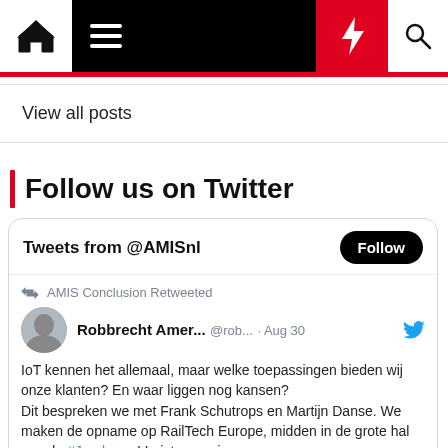[Figure (screenshot): Website navigation bar with home icon, hamburger menu, lightning bolt icon (red background), and search icon]
View all posts
Follow us on Twitter
Tweets from @AMISnl  Follow
AMIS Conclusion Retweeted
Robbrecht Amer... @rob... · Aug 30
IoT kennen het allemaal, maar welke toepassingen bieden wij onze klanten? En waar liggen nog kansen?
Dit bespreken we met Frank Schutrops en Martijn Danse. We maken de opname op RailTech Europe, midden in de grote hal van de #Jaarbeurs! Luister nu via :
conclusion.nl/nieuws/podcast